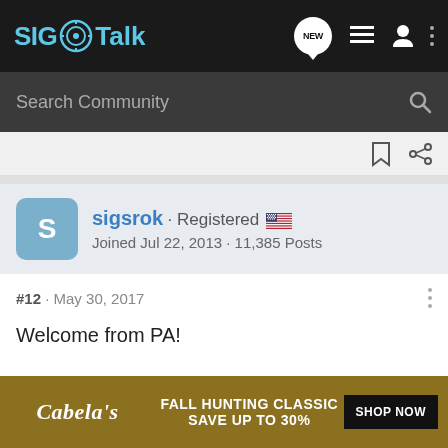SIG Talk
Search Community
sigsrok · Registered
Joined Jul 22, 2013 · 11,385 Posts
#12 · May 30, 2017
Welcome from PA!
M11-A1...
Standard...
[Figure (other): Cabela's Fall Hunting Classic advertisement banner: FALL HUNTING CLASSIC SAVE UP TO 30% SHOP NOW]